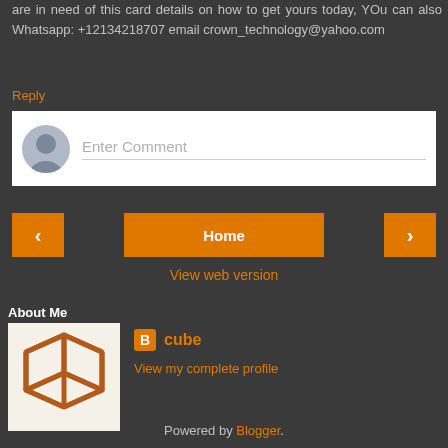are in need of this card details on how to get yours today, YOu can also Whatsapp: +12134218707 email crown_technology@yahoo.com
Reply
[Figure (screenshot): Comment entry box with avatar placeholder and 'Enter Comment' input field]
[Figure (infographic): Navigation row with left arrow button, Home button, and right arrow button in orange]
View web version
About Me
[Figure (illustration): Blogger profile image showing an orange wireframe cube on white background]
cube
View my complete profile
Powered by Blogger.